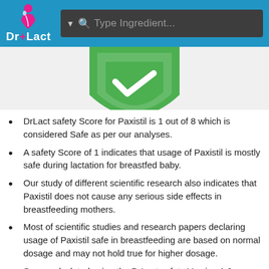[Figure (logo): Dr+Lact logo with search bar header]
[Figure (illustration): Green shield icon partially visible at the top of the content area]
DrLact safety Score for Paxistil is 1 out of 8 which is considered Safe as per our analyses.
A safety Score of 1 indicates that usage of Paxistil is mostly safe during lactation for breastfed baby.
Our study of different scientific research also indicates that Paxistil does not cause any serious side effects in breastfeeding mothers.
Most of scientific studies and research papers declaring usage of Paxistil safe in breastfeeding are based on normal dosage and may not hold true for higher dosage.
Score calculated using the DrLact safety Version 1.2 model, this score ranges from 0 to 8 and measures overall safety of drug in lactation. Scores are primarily calculated using publicly available case studies, research papers, other scientific journals